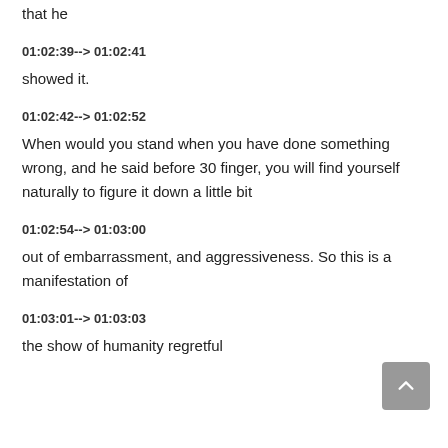that he
01:02:39--> 01:02:41
showed it.
01:02:42--> 01:02:52
When would you stand when you have done something wrong, and he said before 30 finger, you will find yourself naturally to figure it down a little bit
01:02:54--> 01:03:00
out of embarrassment, and aggressiveness. So this is a manifestation of
01:03:01--> 01:03:03
the show of humanity regretful